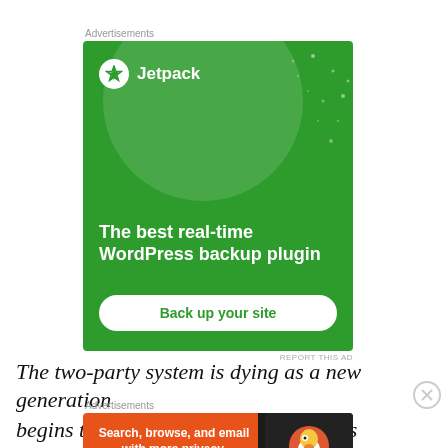Advertisements
[Figure (illustration): Jetpack advertisement banner: green background with large decorative circle and sparkle dots, Jetpack logo (white circle with lightning bolt icon and 'Jetpack' text), tagline 'The best real-time WordPress backup plugin', white rounded button 'Back up your site']
REPORT THIS AD
The two-party system is dying as a new generation begins to take over political power. It's happening
Advertisements
[Figure (illustration): DuckDuckGo advertisement banner: orange left section with text 'Search, browse, and email with more privacy. All in One Free App' and dark right section with DuckDuckGo duck logo and 'DuckDuckGo' text]
REPORT THIS AD